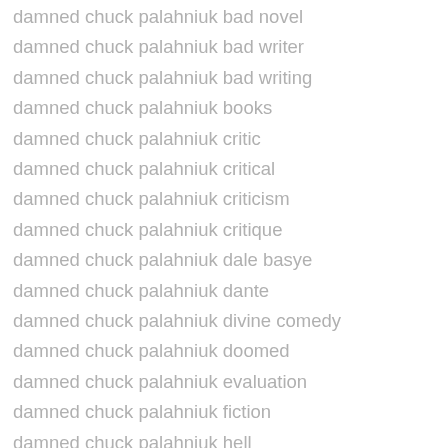damned chuck palahniuk bad novel
damned chuck palahniuk bad writer
damned chuck palahniuk bad writing
damned chuck palahniuk books
damned chuck palahniuk critic
damned chuck palahniuk critical
damned chuck palahniuk criticism
damned chuck palahniuk critique
damned chuck palahniuk dale basye
damned chuck palahniuk dante
damned chuck palahniuk divine comedy
damned chuck palahniuk doomed
damned chuck palahniuk evaluation
damned chuck palahniuk fiction
damned chuck palahniuk hell
damned chuck palahniuk inferno
damned chuck palahniuk novel
damned chuck palahniuk review